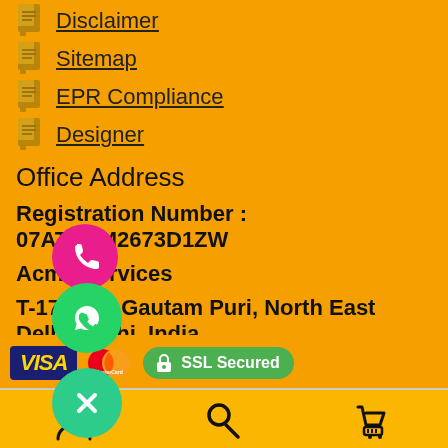Disclaimer
Sitemap
EPR Compliance
Designer
Office Address
Registration Number : 07ATBPM2673D1ZW
Acme Services
T-173/1/4, Gautam Puri, North East Delhi, Delhi, India
Telephone: +91-9910108031
[Figure (infographic): Payment logos: Visa, MasterCard, SSL Secured badge]
[Figure (infographic): Mobile app bottom navigation bar with user, search, and cart icons; overlaid with phone, WhatsApp, and close circular buttons]